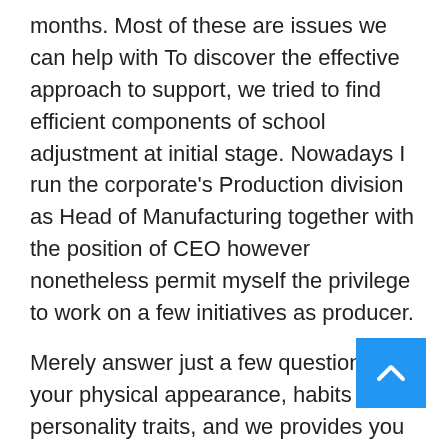months. Most of these are issues we can help with To discover the effective approach to support, we tried to find efficient components of school adjustment at initial stage. Nowadays I run the corporate's Production division as Head of Manufacturing together with the position of CEO however nonetheless permit myself the privilege to work on a few initiatives as producer.
Merely answer just a few questions on your physical appearance, habits and personality traits, and we provides you with probably the most accurate results about who your superstar twin is. Instagram is the main picture-sharing social app, although many people love pinning images on Pinterest.